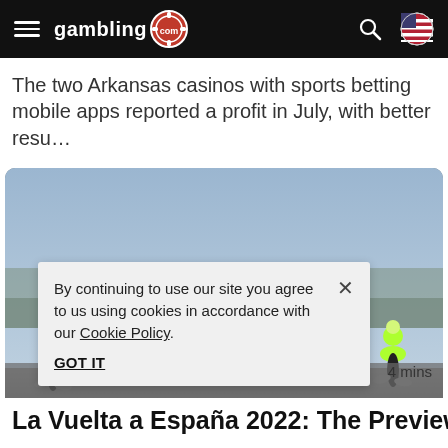gambling.com
The two Arkansas casinos with sports betting mobile apps reported a profit in July, with better resu...
[Figure (photo): Group of professional cyclists racing in a peloton, leaning forward on their bikes, wearing colorful jerseys and helmets]
By continuing to use our site you agree to us using cookies in accordance with our Cookie Policy.
GOT IT
4 mins
La Vuelta a España 2022: The Preview...